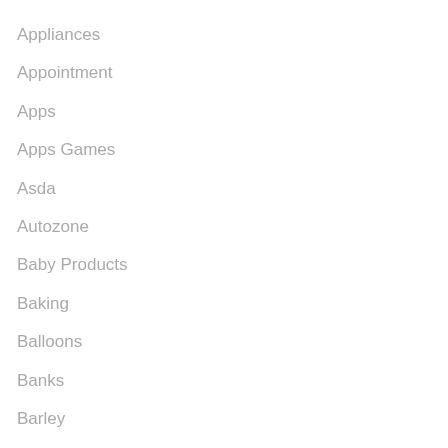Appliances
Appointment
Apps
Apps Games
Asda
Autozone
Baby Products
Baking
Balloons
Banks
Barley
Batteries